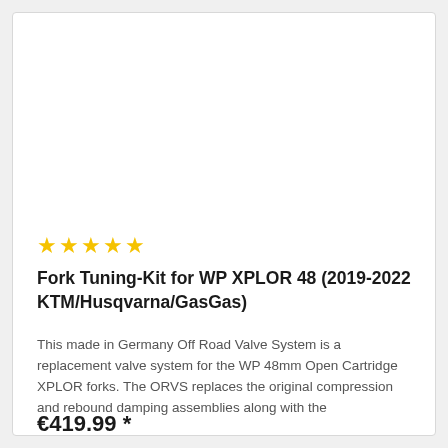[Figure (other): Five gold star rating icons]
Fork Tuning-Kit for WP XPLOR 48 (2019-2022 KTM/Husqvarna/GasGas)
This made in Germany Off Road Valve System is a replacement valve system for the WP 48mm Open Cartridge XPLOR forks. The ORVS replaces the original compression and rebound damping assemblies along with the
€419.99 *